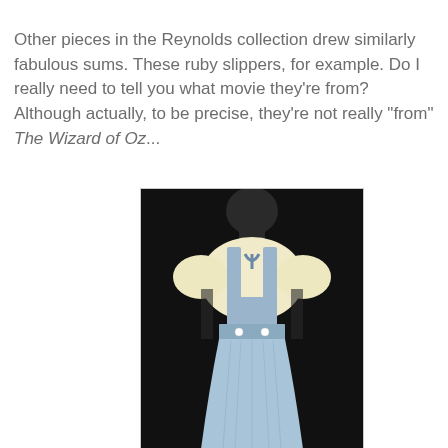Other pieces in the Reynolds collection drew similarly fabulous sums. These ruby slippers, for example. Do I really need to tell you what movie they're from? Although actually, to be precise, they're not really "from" The Wizard of Oz...
[Figure (photo): A blue and white Dorothy-style pinafore dress from The Wizard of Oz on a black mannequin against a dark background. The outfit consists of a pale yellow/cream blouse with puffed sleeves and a blue ribbon at the neck, and a light blue jumper/pinafore dress with white buttons at the waist.]